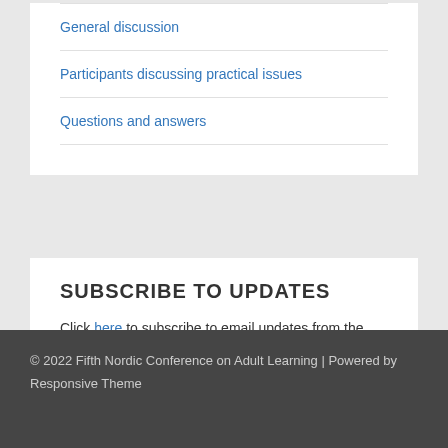General discussion
Participants discussing practical issues
Questions and answers
SUBSCRIBE TO UPDATES
Click here to subscribe to email updates from the Fifth NCoAL
© 2022 Fifth Nordic Conference on Adult Learning | Powered by Responsive Theme